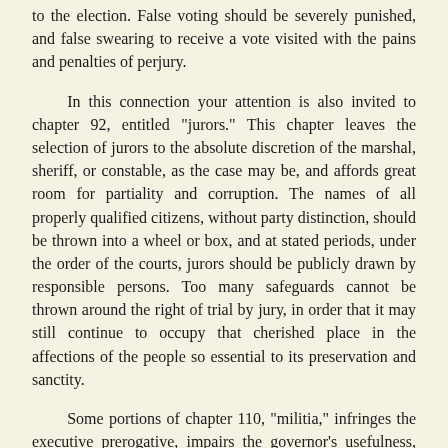to the election. False voting should be severely punished, and false swearing to receive a vote visited with the pains and penalties of perjury.
In this connection your attention is also invited to chapter 92, entitled "jurors." This chapter leaves the selection of jurors to the absolute discretion of the marshal, sheriff, or constable, as the case may be, and affords great room for partiality and corruption. The names of all properly qualified citizens, without party distinction, should be thrown into a wheel or box, and at stated periods, under the order of the courts, jurors should be publicly drawn by responsible persons. Too many safeguards cannot be thrown around the right of trial by jury, in order that it may still continue to occupy that cherished place in the affections of the people so essential to its preservation and sanctity.
Some portions of chapter 110, "militia," infringes the executive prerogative, impairs the governor's usefulness, and clearly conflicts with the organic act. This act requires the executive to reside in the territory, and makes him "commander-in-chief of the militia." This power must be vested some place, and is always conferred upon the chief magistrate. Section 26 virtually confers this almost sovereign prerogative "upon any commissioned officer," and permits him, "whenever and as often as any invasion or danger may